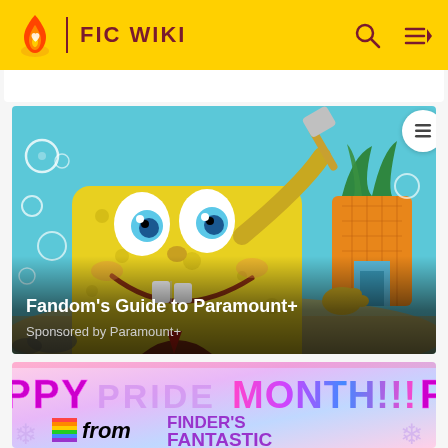FIC WIKI
[Figure (screenshot): SpongeBob SquarePants cartoon character smiling with bubbles, standing in front of his pineapple house underwater. Text overlay reads: Fandom's Guide to Paramount+ / Sponsored by Paramount+]
Fandom's Guide to Paramount+
Sponsored by Paramount+
[Figure (illustration): Colorful banner reading HAPPY PRIDE MONTH!!! with rainbow elements and text 'from FINDER'S FANTASTIC' in purple]